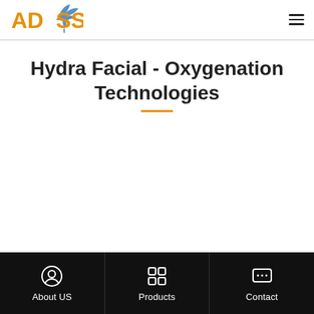ADSS logo and navigation
Hydra Facial - Oxygenation Technologies
About US | Products | Contact